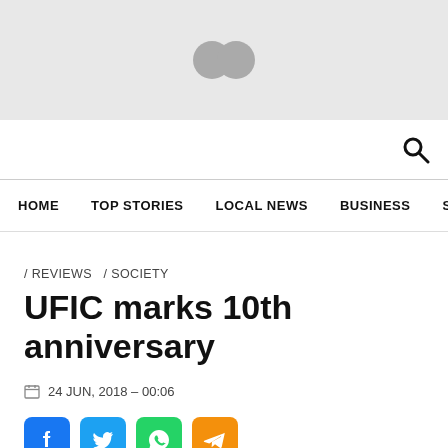[Figure (logo): Website logo — two overlapping grey circles on a light grey banner background]
HOME  TOP STORIES  LOCAL NEWS  BUSINESS  SPC
/ REVIEWS / SOCIETY
UFIC marks 10th anniversary
24 JUN, 2018 - 00:06
[Figure (other): Social media share buttons: Facebook, Twitter, WhatsApp, Telegram]